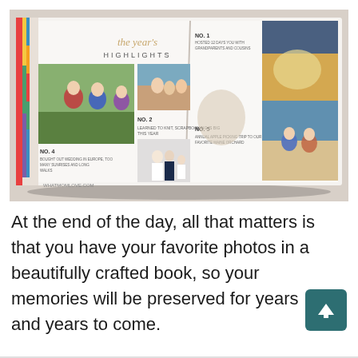[Figure (photo): An open photo book showing a year's highlights layout with numbered sections (No.1 through No.5), featuring family photos including children in winter clothes, a beach family photo, a wedding couple with child, and a beach sunset. The book is photographed on a table at an angle. Watermark reads 'WHATMOMLOVE.COM'.]
At the end of the day, all that matters is that you have your favorite photos in a beautifully crafted book, so your memories will be preserved for years and years to come.